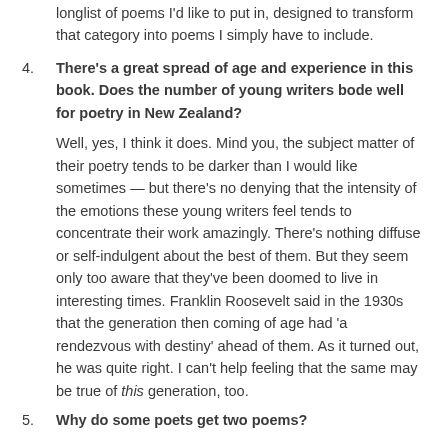longlist of poems I'd like to put in, designed to transform that category into poems I simply have to include.
4. There's a great spread of age and experience in this book. Does the number of young writers bode well for poetry in New Zealand?
Well, yes, I think it does. Mind you, the subject matter of their poetry tends to be darker than I would like sometimes — but there's no denying that the intensity of the emotions these young writers feel tends to concentrate their work amazingly. There's nothing diffuse or self-indulgent about the best of them. But they seem only too aware that they've been doomed to live in interesting times. Franklin Roosevelt said in the 1930s that the generation then coming of age had 'a rendezvous with destiny' ahead of them. As it turned out, he was quite right. I can't help feeling that the same may be true of this generation, too.
5. Why do some poets get two poems?